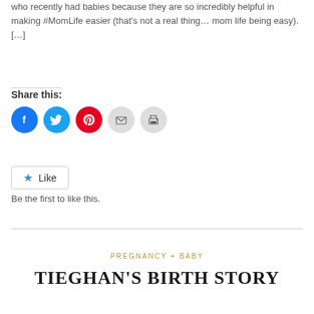who recently had babies because they are so incredibly helpful in making #MomLife easier (that's not a real thing… mom life being easy). […]
Share this:
[Figure (other): Social sharing icons: Facebook (blue circle), Twitter (light blue circle), Pinterest (red circle), Email (gray circle), Print (gray circle)]
[Figure (other): Like button with star icon and text 'Like']
Be the first to like this.
PREGNANCY + BABY
TIEGHAN'S BIRTH STORY